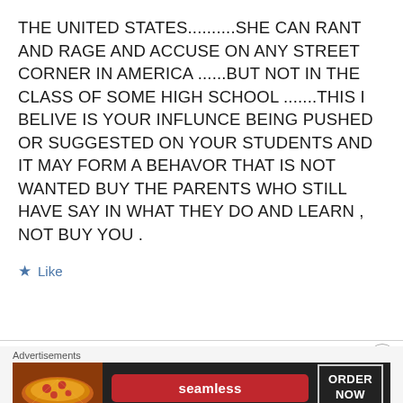THE UNITED STATES..........SHE CAN RANT AND RAGE AND ACCUSE ON ANY STREET CORNER IN AMERICA ......BUT NOT IN THE CLASS OF SOME HIGH SCHOOL .......THIS I BELIVE IS YOUR INFLUNCE BEING PUSHED OR SUGGESTED ON YOUR STUDENTS AND IT MAY FORM A BEHAVOR THAT IS NOT WANTED BUY THE PARENTS WHO STILL HAVE SAY IN WHAT THEY DO AND LEARN , NOT BUY YOU .
★ Like
[Figure (other): Seamless food delivery advertisement banner with pizza image on left, Seamless logo in red in center, and ORDER NOW button on right against dark background]